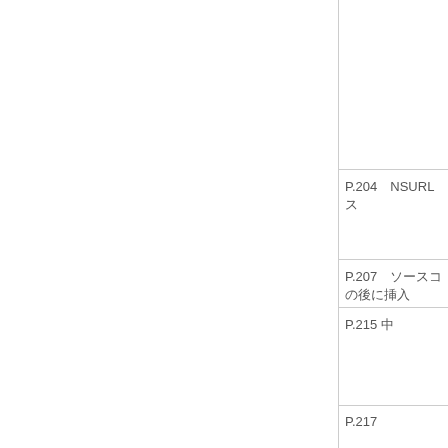|  |
| P.204　NSURL…ス |
| P.207　ソースコ…の後に挿入 |
| P.215 中 |
| P.217 |